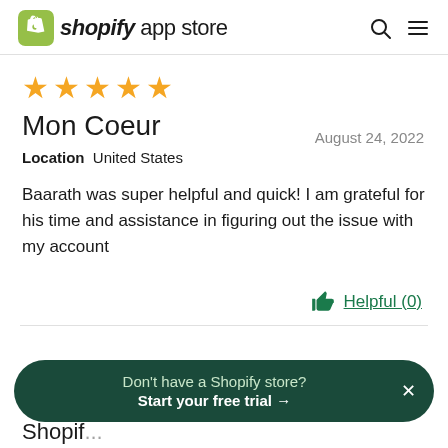shopify app store
[Figure (other): Five golden star rating icons]
August 24, 2022
Mon Coeur
Location  United States
Baarath was super helpful and quick! I am grateful for his time and assistance in figuring out the issue with my account
Helpful (0)
Don't have a Shopify store? Start your free trial →